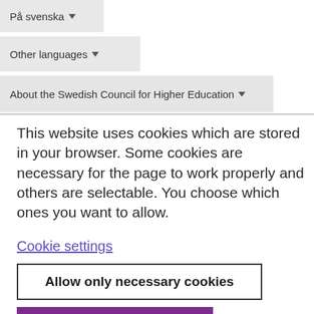På svenska ▾
Other languages ▾
About the Swedish Council for Higher Education ▾
This website uses cookies which are stored in your browser. Some cookies are necessary for the page to work properly and others are selectable. You choose which ones you want to allow.
Cookie settings
Allow only necessary cookies
Allow all cookies